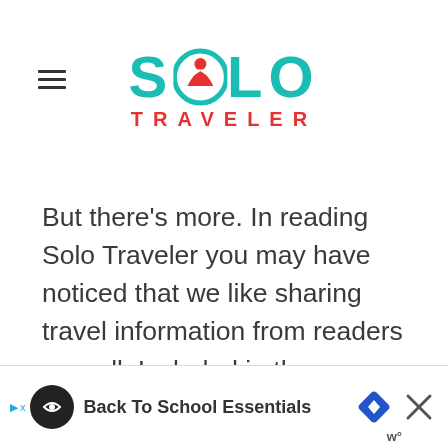Solo Traveler
But there's more. In reading Solo Traveler you may have noticed that we like sharing travel information from readers as well. Included in the suggestions below are also recommendations from readers. We'd love more. If you have a suggestion for where to stay in London, please leave it in the comments section below with a few words about why the place is great for solo tr[avelers]